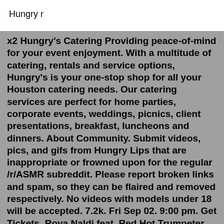Hungry r
x2 Hungry’s Catering Providing peace-of-mind for your event enjoyment. With a multitude of catering, rentals and service options, Hungry’s is your one-stop shop for all your Houston catering needs. Our catering services are perfect for home parties, corporate events, weddings, picnics, client presentations, breakfast, luncheons and dinners. About Community. Submit videos, pics, and gifs from Hungry Lips that are inappropriate or frowned upon for the regular /r/ASMR subreddit. Please report broken links and spam, so they can be flaired and removed respectively. No videos with models under 18 will be accepted. 7.2k. Fri Sep 02. 9:00 pm. Get Tickets. Roya Naldi feat. Red Hot Trumpeter Dave Kosmyna. Sat Sep 03. 9:00 pm. Get Tickets.0-399-22690-7 (US) OCLC. 21134403. The Very Hungry Caterpillar is a children’s picture book, designed,